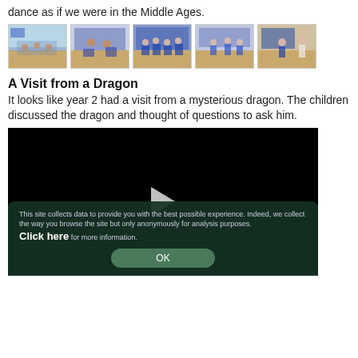dance as if we were in the Middle Ages.
[Figure (photo): Five thumbnail photos of children in a school hall performing Middle Ages dance activities.]
A Visit from a Dragon
It looks like year 2 had a visit from a mysterious dragon. The children discussed the dragon and thought of questions to ask him.
[Figure (screenshot): Embedded video player showing a dark/black screen with a play button in the centre. A cookie consent overlay covers the bottom portion with text: 'This site collects data to provide you with the best possible experience. Indeed, we collect the way you browse the site but only anonymously for analysis purposes. Click here for more information.' and an OK button.]